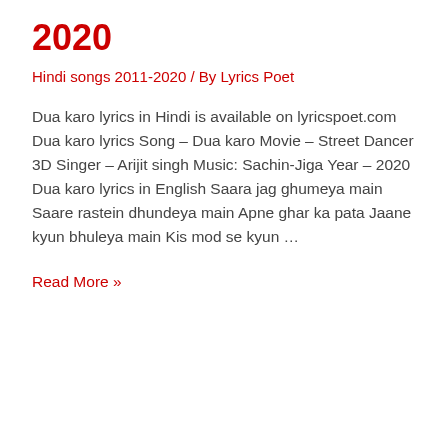2020
Hindi songs 2011-2020 / By Lyrics Poet
Dua karo lyrics in Hindi is available on lyricspoet.com Dua karo lyrics Song – Dua karo Movie – Street Dancer 3D Singer – Arijit singh Music: Sachin-Jiga Year – 2020 Dua karo lyrics in English Saara jag ghumeya main Saare rastein dhundeya main Apne ghar ka pata Jaane kyun bhuleya main Kis mod se kyun …
Read More »